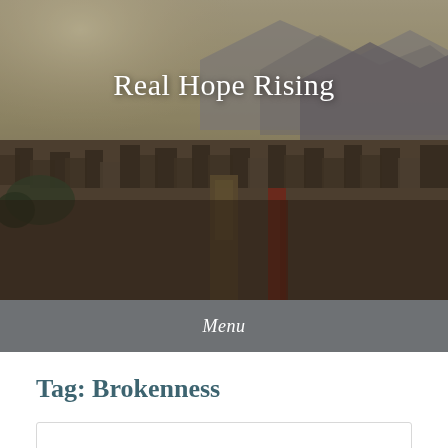[Figure (photo): Aerial cityscape photo (Kathmandu-style dense urban area with mountains in background, warm hazy light). Used as hero background image.]
Real Hope Rising
Menu
Tag: Brokenness